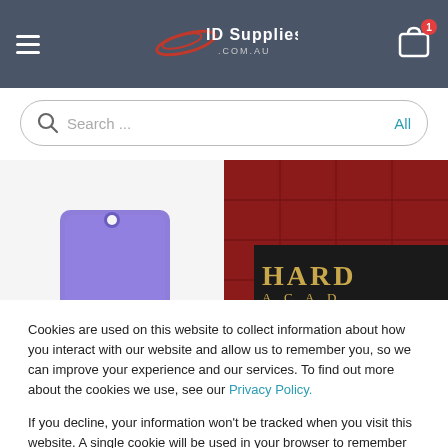[Figure (screenshot): ID Supplies .com.au website header navigation bar with hamburger menu, logo, and shopping cart with badge showing 1 item]
[Figure (screenshot): Search bar with magnifying glass icon, placeholder text 'Search ...' and 'All' label on right]
[Figure (photo): Left product image showing purple ID card holder on white background with heart/wishlist icon]
[Figure (photo): Right product image showing red and gold ID card with 'HARD ACAD' text and heart/wishlist icon]
Cookies are used on this website to collect information about how you interact with our website and allow us to remember you, so we can improve your experience and our services. To find out more about the cookies we use, see our Privacy Policy.
If you decline, your information won't be tracked when you visit this website. A single cookie will be used in your browser to remember your preference not to be tracked.